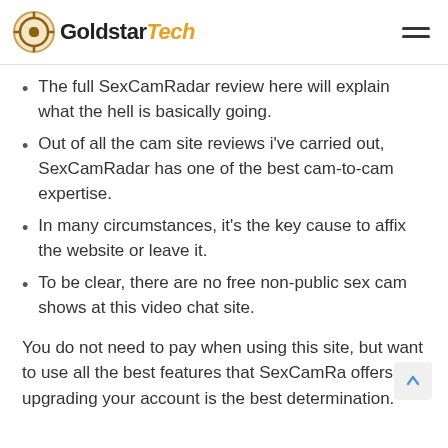GoldstarTech
The full SexCamRadar review here will explain what the hell is basically going.
Out of all the cam site reviews i've carried out, SexCamRadar has one of the best cam-to-cam expertise.
In many circumstances, it's the key cause to affix the website or leave it.
To be clear, there are no free non-public sex cam shows at this video chat site.
You do not need to pay when using this site, but want to use all the best features that SexCamRa offers, upgrading your account is the best determination.